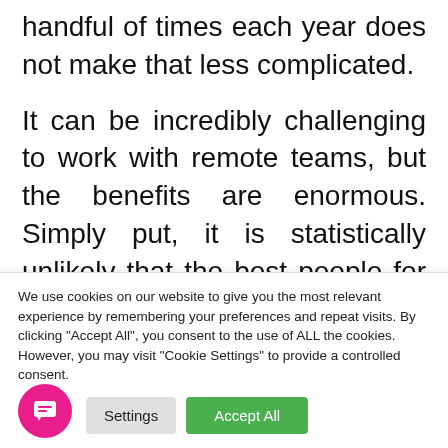handful of times each year does not make that less complicated.
It can be incredibly challenging to work with remote teams, but the benefits are enormous. Simply put, it is statistically unlikely that the best people for your team happen to be located in the same geographical area.
We use cookies on our website to give you the most relevant experience by remembering your preferences and repeat visits. By clicking "Accept All", you consent to the use of ALL the cookies. However, you may visit "Cookie Settings" to provide a controlled consent.